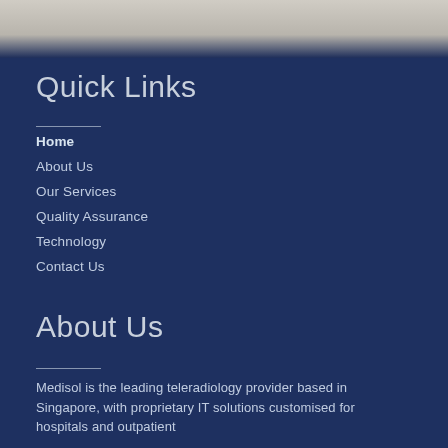[Figure (photo): Top strip showing a blurred light-colored fabric or textile background photo]
Quick Links
Home
About Us
Our Services
Quality Assurance
Technology
Contact Us
About Us
Medisol is the leading teleradiology provider based in Singapore, with proprietary IT solutions customised for hospitals and outpatient